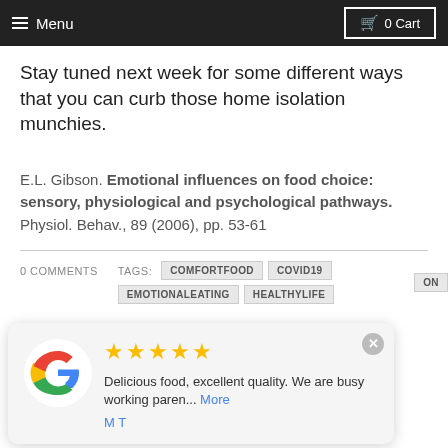Menu  0 Cart
Stay tuned next week for some different ways that you can curb those home isolation munchies.
E.L. Gibson. Emotional influences on food choice: sensory, physiological and psychological pathways. Physiol. Behav., 89 (2006), pp. 53-61
0 COMMENTS   TAGS: COMFORTFOOD  COVID19  EMOTIONALEATING  HEALTHYLIFE
[Figure (other): Google review popup showing 5 stars, text 'Delicious food, excellent quality. We are busy working paren... More' by reviewer M T, with Google G logo]